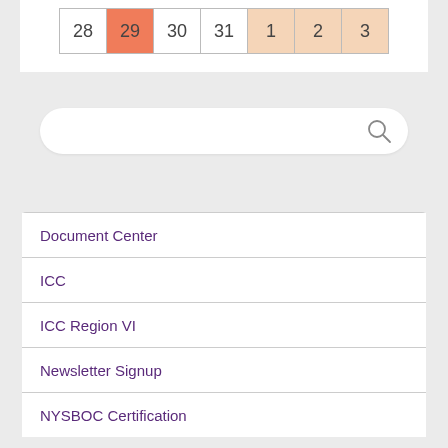[Figure (other): Partial calendar view showing days 28, 29 (highlighted in orange), 30, 31, and 1, 2, 3 (highlighted in peach/light orange) in a grid table]
[Figure (other): Search bar with magnifying glass icon]
Document Center
ICC
ICC Region VI
Newsletter Signup
NYSBOC Certification